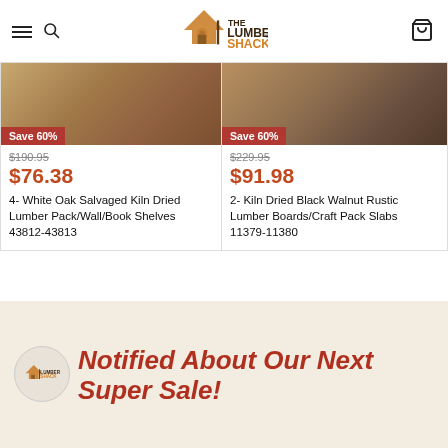The Lumber Shack - navigation header with hamburger menu, search icon, logo, and cart icon
[Figure (photo): Wood lumber photo for product 1 with Save 60% badge]
$190.95
$76.38
4- White Oak Salvaged Kiln Dried Lumber Pack/Wall/Book Shelves 43812-43813
[Figure (photo): Wood lumber photo for product 2 with Save 60% badge]
$229.95
$91.98
2- Kiln Dried Black Walnut Rustic Lumber Boards/Craft Pack Slabs 11379-11380
[Figure (logo): The Lumber Shack logo inside a circle]
Notified About Our Next Super Sale!